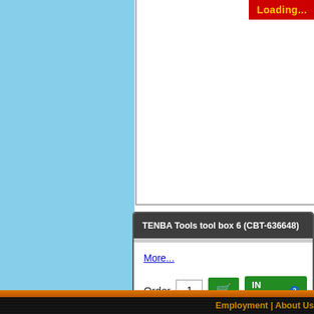[Figure (screenshot): Blue sidebar background area on the left portion of the page]
[Figure (screenshot): Top product card area (partially visible) with a red Loading... button in the upper right]
Loading...
TENBA Tools tool box 6 (CBT-636648)
More...
Order  1  IN STOCK
Employment | About Us